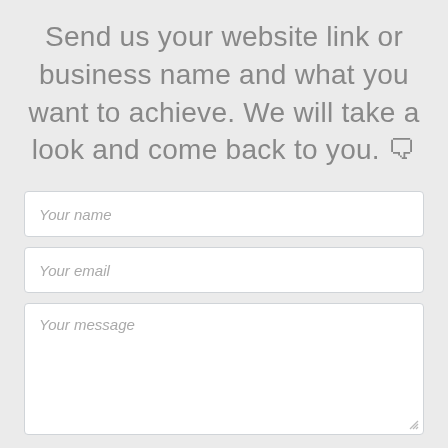Send us your website link or business name and what you want to achieve. We will take a look and come back to you. 🗨
[Figure (screenshot): Web contact form with three fields: 'Your name' (text input), 'Your email' (text input), 'Your message' (textarea with resize handle), and a 'Send' button in blue.]